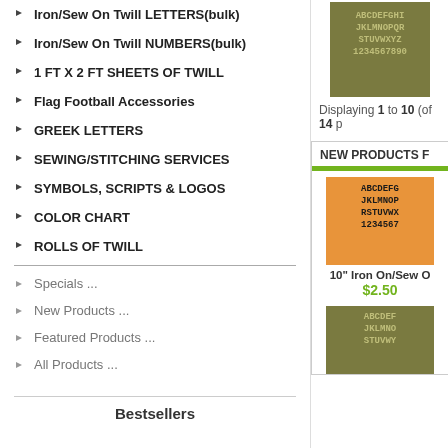Iron/Sew On Twill LETTERS(bulk)
Iron/Sew On Twill NUMBERS(bulk)
1 FT X 2 FT SHEETS OF TWILL
Flag Football Accessories
GREEK LETTERS
SEWING/STITCHING SERVICES
SYMBOLS, SCRIPTS & LOGOS
COLOR CHART
ROLLS OF TWILL
Specials ...
New Products ...
Featured Products ...
All Products ...
Bestsellers
[Figure (photo): Olive/dark background twill letters and numbers sample: ABCDEFGHI JKLMNOPQR STUVWXYZ 1234567890]
Displaying 1 to 10 (of 14 p
NEW PRODUCTS F
[Figure (photo): Orange background twill letters and numbers sample: ABCDEFG JKLMNOP RSTUVWX 1234567]
10" Iron On/Sew O
$2.50
[Figure (photo): Olive/dark background twill letters and numbers sample: ABCDEF JKLMNO STUVWY]